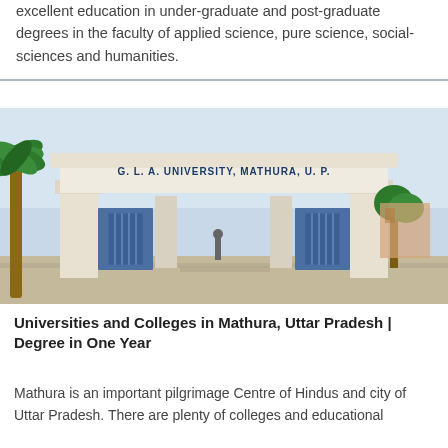excellent education in under-graduate and post-graduate degrees in the faculty of applied science, pure science, social-sciences and humanities.
[Figure (photo): Entrance gate of G. L. A. University, Mathura, U.P. with palm trees in foreground and blue sky in background.]
Universities and Colleges in Mathura, Uttar Pradesh | Degree in One Year
Mathura is an important pilgrimage Centre of Hindus and city of Uttar Pradesh. There are plenty of colleges and educational